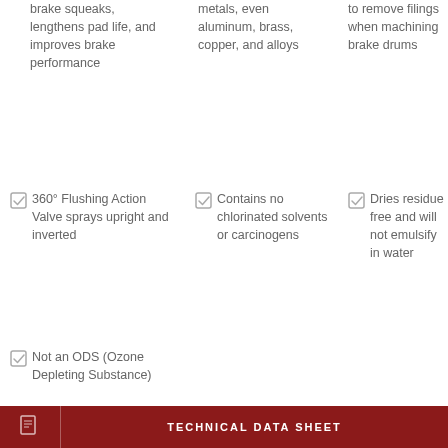brake squeaks, lengthens pad life, and improves brake performance
metals, even aluminum, brass, copper, and alloys
to remove filings when machining brake drums
360° Flushing Action Valve sprays upright and inverted
Contains no chlorinated solvents or carcinogens
Dries residue free and will not emulsify in water
Not an ODS (Ozone Depleting Substance)
TECHNICAL DATA SHEET